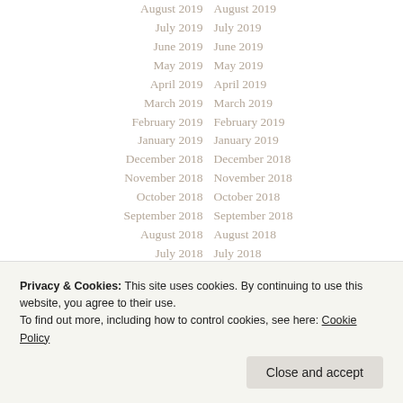August 2019   August 2019
July 2019   July 2019
June 2019   June 2019
May 2019   May 2019
April 2019   April 2019
March 2019   March 2019
February 2019   February 2019
January 2019   January 2019
December 2018   December 2018
November 2018   November 2018
October 2018   October 2018
September 2018   September 2018
August 2018   August 2018
July 2018   July 2018
June 2018   June 2018
May 2018   May 2018
Privacy & Cookies: This site uses cookies. By continuing to use this website, you agree to their use.
To find out more, including how to control cookies, see here: Cookie Policy
Close and accept